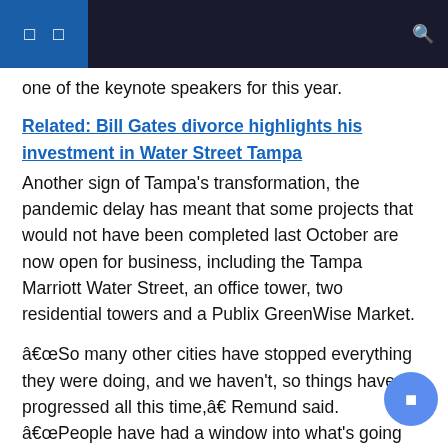navigation header with icons
one of the keynote speakers for this year.
Related: Bill Gates divorce highlights his investment in Water Street Tampa
Another sign of Tampa’s transformation, the pandemic delay has meant that some projects that would not have been completed last October are now open for business, including the Tampa Marriott Water Street, an office tower, two residential towers and a Publix GreenWise Market.
“So many other cities have stopped everything they were doing, and we haven’t, so things have progressed all this time,” Remund said. “People have had a window into what’s going on downtown for over a year now.
The conference includes breakout sessions on other areas, including Ybor City and downtown St. Petersburg, as well as